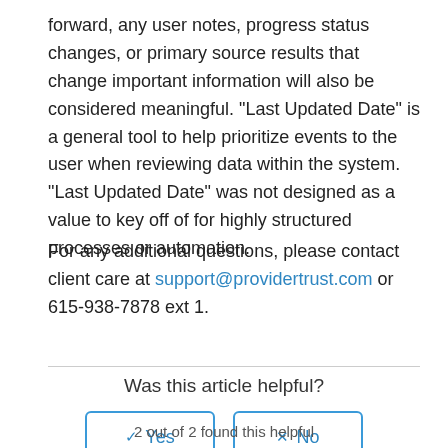forward, any user notes, progress status changes, or primary source results that change important information will also be considered meaningful. "Last Updated Date" is a general tool to help prioritize events to the user when reviewing data within the system. "Last Updated Date" was not designed as a value to key off of for highly structured processes or automation.
For any additional questions, please contact client care at support@providertrust.com or 615-938-7878 ext 1.
Was this article helpful?
2 out of 2 found this helpful